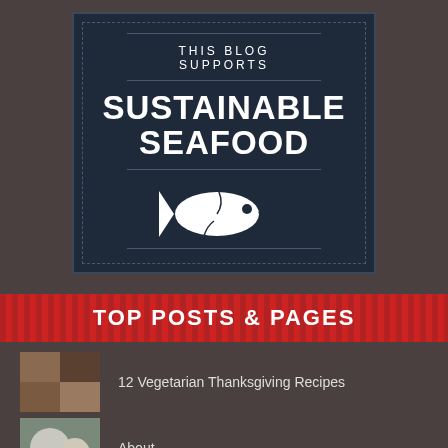[Figure (logo): Dark navy blue badge/banner with dashed inner border. Text reads 'THIS BLOG SUPPORTS' above large bold 'SUSTAINABLE SEAFOOD', with white fish silhouette below.]
TOP POSTS & PAGES
12 Vegetarian Thanksgiving Recipes
About
Meatless Monday – Easy Vegetable Tart